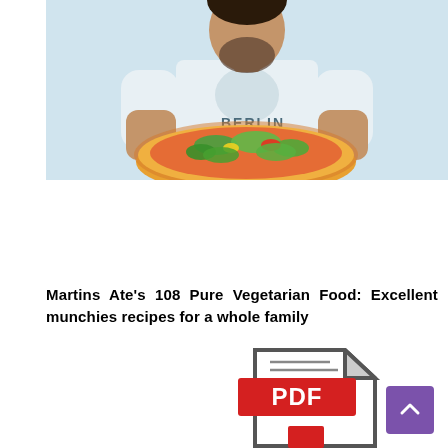[Figure (photo): A man wearing a white t-shirt with a bear graphic and 'BERLIN' text, holding a large pizza topped with colorful vegetables and greens, photographed against a light background.]
Martins Ate's 108 Pure Vegetarian Food: Excellent munchies recipes for a whole family
[Figure (other): PDF file icon with a red rectangle labeled 'PDF' and a document outline with a folded corner, and a red bookmark at the bottom.]